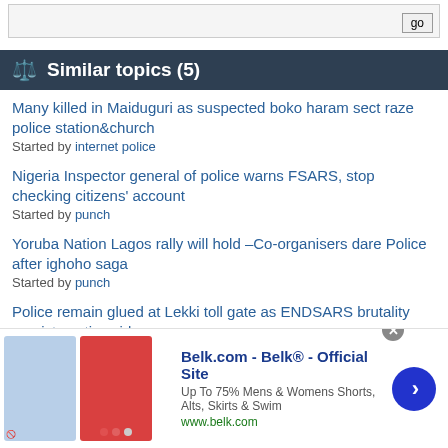Similar topics (5)
Many killed in Maiduguri as suspected boko haram sect raze police station&church
Started by internet police
Nigeria Inspector general of police warns FSARS, stop checking citizens' account
Started by punch
Yoruba Nation Lagos rally will hold –Co-organisers dare Police after ighoho saga
Started by punch
Police remain glued at Lekki toll gate as ENDSARS brutality persists nationwide
Started by punch
university student killed father in Redemption Camp arrested by
[Figure (screenshot): Advertisement for Belk.com showing clothing images, title 'Belk.com - Belk® - Official Site', subtitle 'Up To 75% Mens & Womens Shorts, Alts, Skirts & Swim', URL www.belk.com, with navigation arrow and infolinks label]